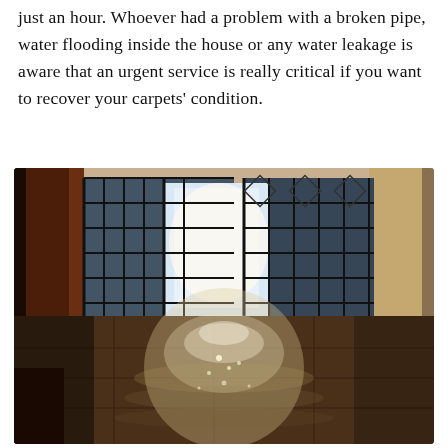just an hour. Whoever had a problem with a broken pipe, water flooding inside the house or any water leakage is aware that an urgent service is really critical if you want to recover your carpets' condition.
[Figure (photo): Interior room with water-flooded tiled floor reflecting light from ornate iron-gated windows/doors in the background. Dark wooden door frames on left and right sides. The floor is covered with a shiny water layer creating reflections of the backlit windows.]